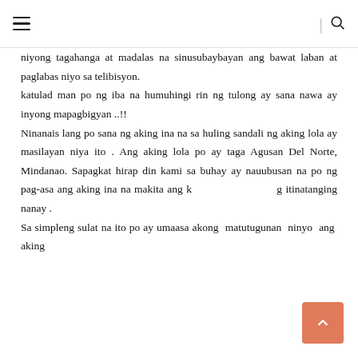Navigation header with hamburger menu and search icon
niyong tagahanga at madalas na sinusubaybayan ang bawat laban at paglabas niyo sa telibisyon. katulad man po ng iba na humuhingi rin ng tulong ay sana nawa ay inyong mapagbigyan ..!! Ninanais lang po sana ng aking ina na sa huling sandali ng aking lola ay masilayan niya ito . Ang aking lola po ay taga Agusan Del Norte, Mindanao. Sapagkat hirap din kami sa buhay ay nauubusan na po ng pag-asa ang aking ina na makita ang k itinatanging nanay . Sa simpleng sulat na ito po ay umaasa akong matutugunan ninyo ang aking